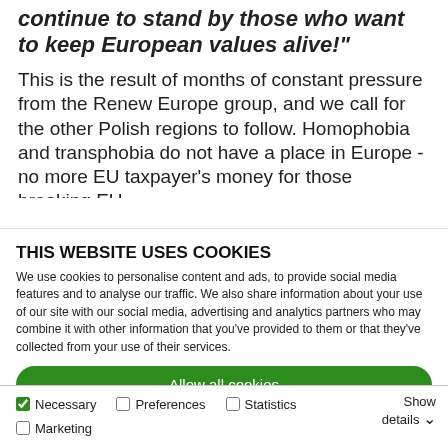continue to stand by those who want to keep European values alive!"
This is the result of months of constant pressure from the Renew Europe group, and we call for the other Polish regions to follow. Homophobia and transphobia do not have a place in Europe - no more EU taxpayer's money for those breaking EU
THIS WEBSITE USES COOKIES
We use cookies to personalise content and ads, to provide social media features and to analyse our traffic. We also share information about your use of our site with our social media, advertising and analytics partners who may combine it with other information that you've provided to them or that they've collected from your use of their services.
Allow all cookies
Allow selection
Use necessary cookies only
Necessary	Preferences	Statistics	Marketing	Show details